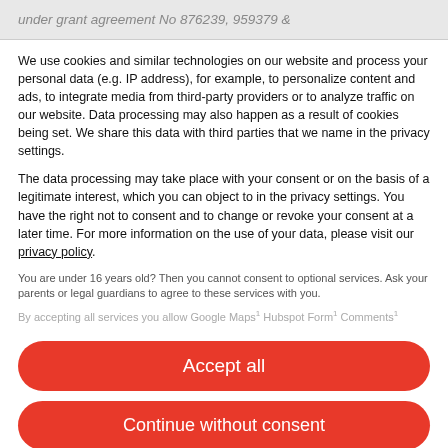under grant agreement No 876239, 959379 &
We use cookies and similar technologies on our website and process your personal data (e.g. IP address), for example, to personalize content and ads, to integrate media from third-party providers or to analyze traffic on our website. Data processing may also happen as a result of cookies being set. We share this data with third parties that we name in the privacy settings.
The data processing may take place with your consent or on the basis of a legitimate interest, which you can object to in the privacy settings. You have the right not to consent and to change or revoke your consent at a later time. For more information on the use of your data, please visit our privacy policy.
You are under 16 years old? Then you cannot consent to optional services. Ask your parents or legal guardians to agree to these services with you.
By accepting all services you allow Google Maps¹ Hubspot Form¹ Comments¹
Accept all
Continue without consent
Set privacy settings individually
Datenschutzerklärung • Impressum